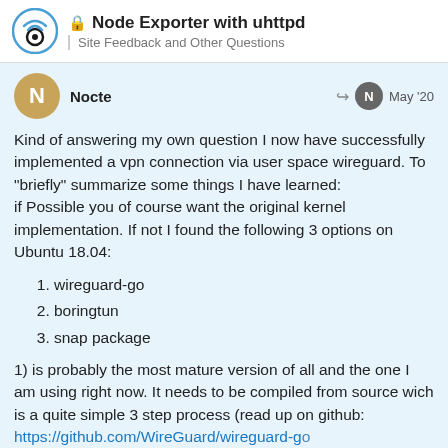Node Exporter with uhttpd | Site Feedback and Other Questions
Nocte — May '20
Kind of answering my own question I now have successfully implemented a vpn connection via user space wireguard. To "briefly" summarize some things I have learned:
if Possible you of course want the original kernel implementation. If not I found the following 3 options on Ubuntu 18.04:
wireguard-go
boringtun
snap package
1) is probably the most mature version of all and the one I am using right now. It needs to be compiled from source wich is a quite simple 3 step process (read up on github:
https://github.com/WireGuard/wireguard-go
are able to realize that the documentation
4 / 5